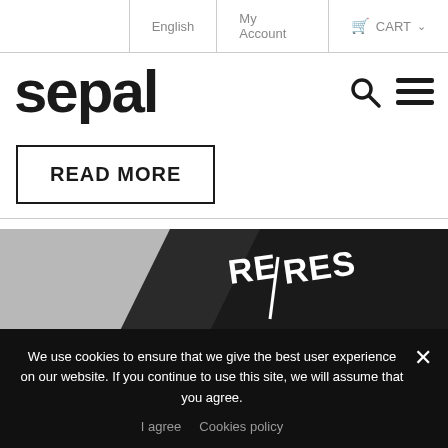English | My Account | CART
[Figure (logo): Sepal brand logo in bold dark lowercase letters with search and hamburger menu icons]
READ MORE
[Figure (photo): Product image showing dark fabric/textile with RE|REST text branding in white, partially visible, with grey background on left]
We use cookies to ensure that we give the best user experience on our website. If you continue to use this site, we will assume that you agree.
I agree   Cookies policy